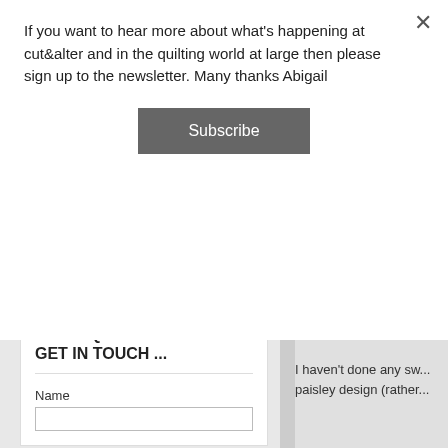If you want to hear more about what's happening at cut&alter and in the quilting world at large then please sign up to the newsletter. Many thanks Abigail
Subscribe
COME FOLLOW ME ...
Search This Blog
GOT A QUESTION? PLEASE GET IN TOUCH ...
Name
I haven't done any sw... paisley design (rather...